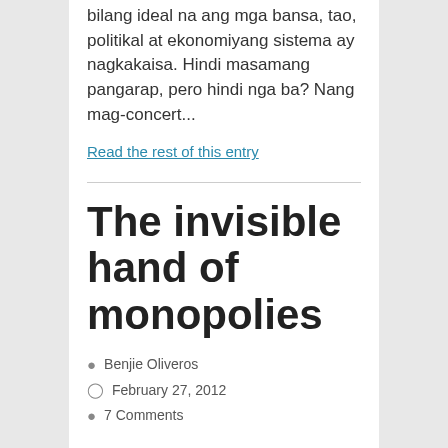bilang ideal na ang mga bansa, tao, politikal at ekonomiyang sistema ay nagkakaisa. Hindi masamang pangarap, pero hindi nga ba? Nang mag-concert...
Read the rest of this entry
The invisible hand of monopolies
Benjie Oliveros
February 27, 2012
7 Comments